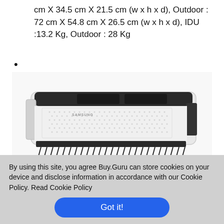cm X 34.5 cm X 21.5 cm (w x h x d), Outdoor : 72 cm X 54.8 cm X 26.5 cm (w x h x d), IDU :13.2 Kg, Outdoor : 28 Kg
•
[Figure (photo): Samsung split air conditioner indoor unit (white), shown from a slight angle below, with the front panel open and airflow louvers extended downward.]
By using this site, you agree Buy.Guru can store cookies on your device and disclose information in accordance with our Cookie Policy. Read Cookie Policy
Got it!